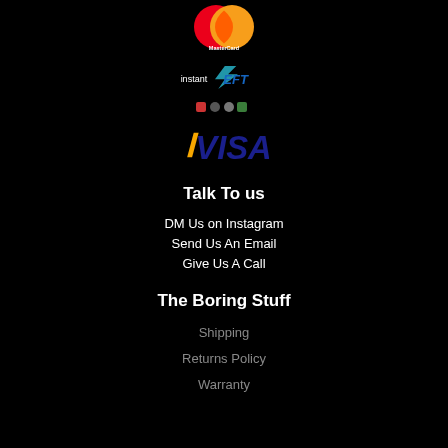[Figure (logo): MasterCard logo - overlapping red and orange circles with MasterCard text]
[Figure (logo): instant EFT logo with bank icons below]
[Figure (logo): VISA logo in blue with gold checkmark]
Talk To us
DM Us on Instagram
Send Us An Email
Give Us A Call
The Boring Stuff
Shipping
Returns Policy
Warranty